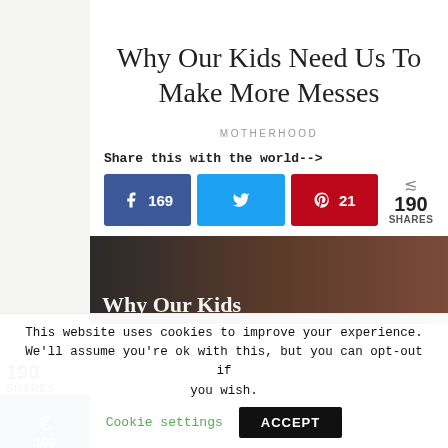Why Our Kids Need Us To Make More Messes
MOTHERHOOD
190 SHARES
Share this with the world-->
f 169
190 SHARES
[Figure (photo): Featured article image with text overlay reading 'Why Our Kids']
This website uses cookies to improve your experience. We'll assume you're ok with this, but you can opt-out if you wish.
Cookie settings
ACCEPT